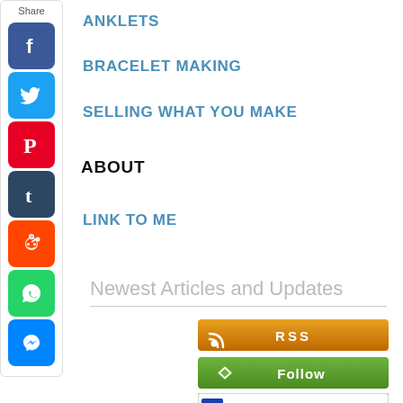Share
ANKLETS
BRACELET MAKING
SELLING WHAT YOU MAKE
ABOUT
LINK TO ME
Newest Articles and Updates
[Figure (other): RSS feed button - orange button with RSS icon and text RSS]
[Figure (other): Follow button - green button with diamond icon and text Follow]
[Figure (other): Add to My Yahoo button - white button with blue plus icon and Yahoo logo]